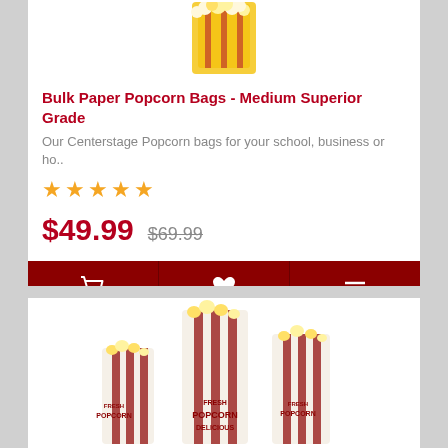[Figure (photo): Bulk Paper Popcorn Bags product image (partially visible at top)]
Bulk Paper Popcorn Bags - Medium Superior Grade
Our Centerstage Popcorn bags for your school, business or ho..
★★★★★ (5 gold stars rating)
$49.99  $69.99
[Figure (photo): Three fresh popcorn bags of varying sizes with red stripe and 'Fresh Popcorn Delicious' branding]